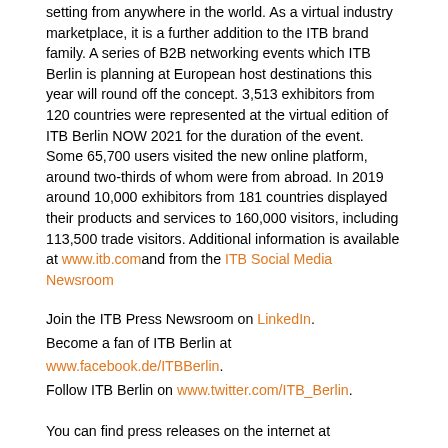setting from anywhere in the world. As a virtual industry marketplace, it is a further addition to the ITB brand family. A series of B2B networking events which ITB Berlin is planning at European host destinations this year will round off the concept. 3,513 exhibitors from 120 countries were represented at the virtual edition of ITB Berlin NOW 2021 for the duration of the event. Some 65,700 users visited the new online platform, around two-thirds of whom were from abroad. In 2019 around 10,000 exhibitors from 181 countries displayed their products and services to 160,000 visitors, including 113,500 trade visitors. Additional information is available at www.itb.com and from the ITB Social Media Newsroom
Join the ITB Press Newsroom on LinkedIn.
Become a fan of ITB Berlin at www.facebook.de/ITBBerlin.
Follow ITB Berlin on www.twitter.com/ITB_Berlin.
You can find press releases on the internet at www.itb.com under the section heading Press / Press Releases.